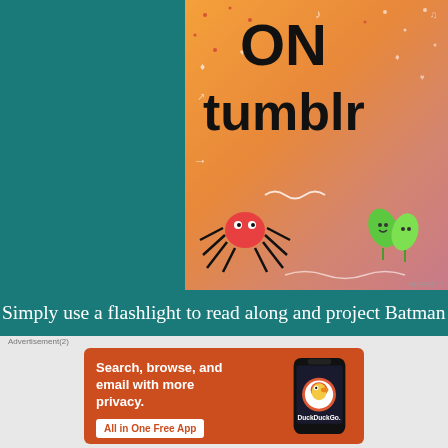[Figure (screenshot): Tumblr advertisement banner with orange/pink gradient background, 'ON tumblr' text in bold black, cartoon spider and leaf characters, decorative dots and doodles]
Simply use a flashlight to read along and project Batman scenes on a wall or ceiling. It works shone against nearly any surface. If you don't–and even if you do–you may be better off with your mobile phone, which probably packs more light power than a standard home flashlight, making the images appear with even greater clarity than pictured above. And one page has a transparency that is blank, so kids can make their own using their own non-permanent, dry-erase marker.
Advertisement(2)
[Figure (screenshot): DuckDuckGo advertisement on orange background with text 'Search, browse, and email with more privacy.' and 'All in One Free App' button, alongside a phone mockup with DuckDuckGo logo]